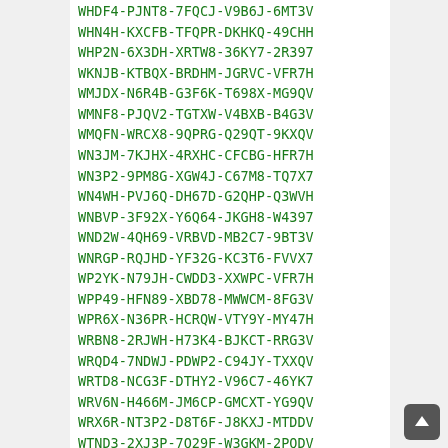WHDF4-PJNT8-7FQCJ-V9B6J-6MT3V
WHN4H-KXCFB-TFQPR-DKHKQ-49CHH
WHP2N-6X3DH-XRTW8-36KY7-2R397
WKNJB-KTBQX-BRDHM-JGRVC-VFR7H
WMJDX-N6R4B-G3F6K-T698X-MG9QV
WMNF8-PJQV2-TGTXW-V4BXB-B4G3V
WMQFN-WRCX8-9QPRG-Q29QT-9KXQV
WN3JM-7KJHX-4RXHC-CFCBG-HFR7H
WN3P2-9PM8G-XGW4J-C67M8-TQ7X7
WN4WH-PVJ6Q-DH67D-G2QHP-Q3WVH
WNBVP-3F92X-Y6Q64-JKGH8-W4397
WND2W-4QH69-VRBVD-MB2C7-9BT3V
WNRGP-RQJHD-YF32G-KC3T6-FVVX7
WP2YK-N79JH-CWDD3-XXWPC-VFR7H
WPP49-HFN89-XBD78-MWWCM-8FG3V
WPR6X-N36PR-HCRQW-VTY9Y-MY47H
WRBN8-2RJWH-H73K4-BJKCT-RRG3V
WRQD4-7NDWJ-PDWP2-C94JY-TXXQV
WRTD8-NCG3F-DTHY2-V96C7-46YK7
WRV6N-H466M-JM6CP-GMCXT-YG9QV
WRX6R-NT3P2-D8T6F-J8KXJ-MTDDV
WTND3-2XJ3P-7Q29F-W3GKM-2PQDV
WVKJW-FRNWB-R4DKX-7MKDQ-G83DV